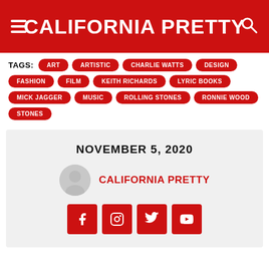CALIFORNIA PRETTY
TAGS: ART ARTISTIC CHARLIE WATTS DESIGN FASHION FILM KEITH RICHARDS LYRIC BOOKS MICK JAGGER MUSIC ROLLING STONES RONNIE WOOD STONES
NOVEMBER 5, 2020
CALIFORNIA PRETTY
[Figure (other): Social media icons: Facebook, Instagram, Twitter, YouTube]